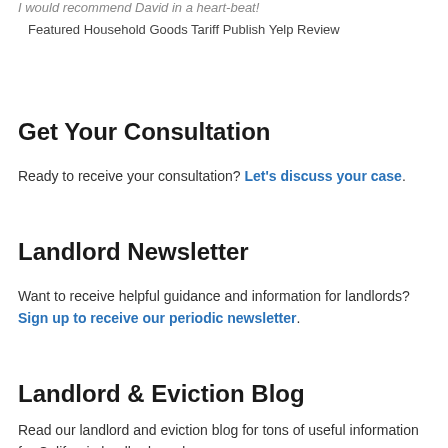I would recommend David in a heart-beat!
Featured Household Goods Tariff Publish Yelp Review
Get Your Consultation
Ready to receive your consultation? Let's discuss your case.
Landlord Newsletter
Want to receive helpful guidance and information for landlords? Sign up to receive our periodic newsletter.
Landlord & Eviction Blog
Read our landlord and eviction blog for tons of useful information for California landlords and